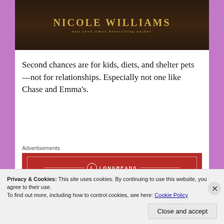[Figure (illustration): Book cover showing author name NICOLE WILLIAMS, new york times bestselling author, on a dark brown/nature background]
Second chances are for kids, diets, and shelter pets—not for relationships. Especially not one like Chase and Emma's.
Advertisements
[Figure (screenshot): Longreads advertisement banner: red background with white border, Longreads logo and tagline 'The best stories on the web – ours, and everyone else's.']
Before he was writing chart-topping hits and smashing record sales, Chase Lawson was Emma's
Privacy & Cookies: This site uses cookies. By continuing to use this website, you agree to their use.
To find out more, including how to control cookies, see here: Cookie Policy